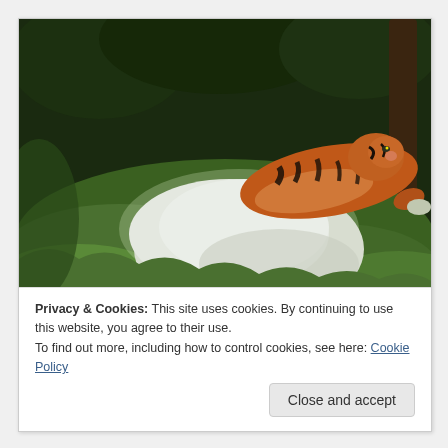[Figure (photo): A tiger lying on green grass behind a large white boulder, with dark green trees/foliage in the background. The tiger has orange and black stripes and is partially visible above the rock.]
Privacy & Cookies: This site uses cookies. By continuing to use this website, you agree to their use.
To find out more, including how to control cookies, see here: Cookie Policy